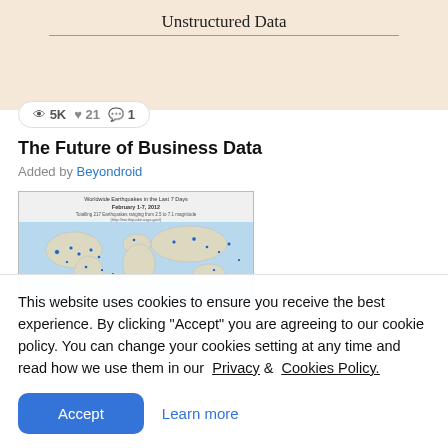Unstructured Data
👁 5K  ♥ 21  💬 1
The Future of Business Data
Added by Beyondroid
[Figure (map): World map showing earthquake locations for February 1-7, 2012. Totalling 217 Earthquakes ranging from 2.5 to 7.1 magnitude (http://earthquake.usgs.gov/)]
This website uses cookies to ensure you receive the best experience. By clicking "Accept" you are agreeing to our cookie policy. You can change your cookies setting at any time and read how we use them in our Privacy & Cookies Policy.
Accept   Learn more